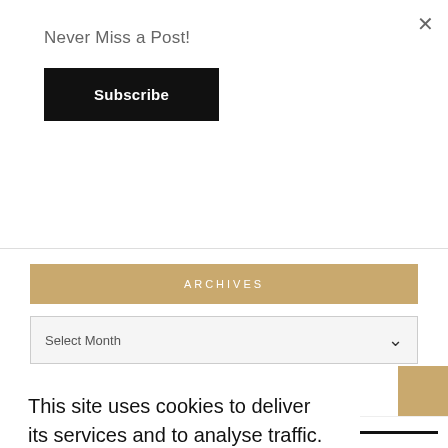×
Never Miss a Post!
Subscribe
ARCHIVES
Select Month
This site uses cookies to deliver its services and to analyse traffic. By using this site, you agree to its use of cookies. Learn more
This website uses cookies to improve your experience. We'll assume